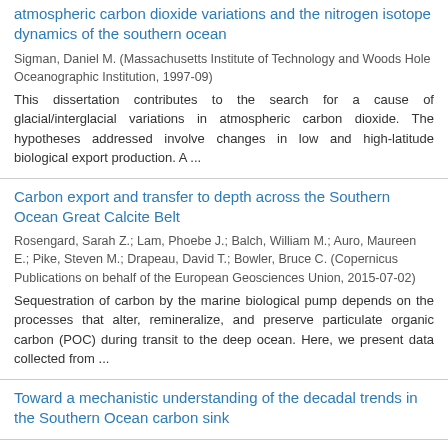atmospheric carbon dioxide variations and the nitrogen isotope dynamics of the southern ocean
Sigman, Daniel M. (Massachusetts Institute of Technology and Woods Hole Oceanographic Institution, 1997-09)
This dissertation contributes to the search for a cause of glacial/interglacial variations in atmospheric carbon dioxide. The hypotheses addressed involve changes in low and high-latitude biological export production. A ...
Carbon export and transfer to depth across the Southern Ocean Great Calcite Belt
Rosengard, Sarah Z.; Lam, Phoebe J.; Balch, William M.; Auro, Maureen E.; Pike, Steven M.; Drapeau, David T.; Bowler, Bruce C. (Copernicus Publications on behalf of the European Geosciences Union, 2015-07-02)
Sequestration of carbon by the marine biological pump depends on the processes that alter, remineralize, and preserve particulate organic carbon (POC) during transit to the deep ocean. Here, we present data collected from ...
Toward a mechanistic understanding of the decadal trends in the Southern Ocean carbon sink